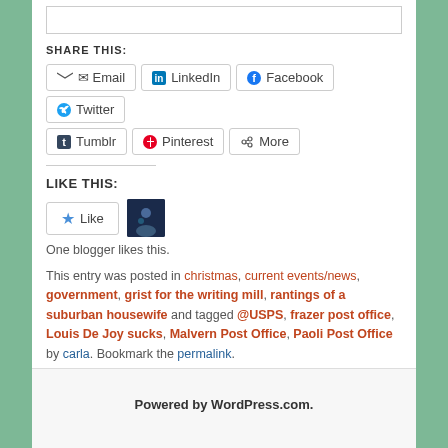SHARE THIS:
Email   LinkedIn   Facebook   Twitter   Tumblr   Pinterest   More
LIKE THIS:
One blogger likes this.
This entry was posted in christmas, current events/news, government, grist for the writing mill, rantings of a suburban housewife and tagged @USPS, frazer post office, Louis De Joy sucks, Malvern Post Office, Paoli Post Office by carla. Bookmark the permalink.
Powered by WordPress.com.